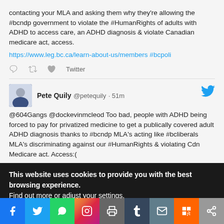contacting your MLA and asking them why they're allowing the #bcndp government to violate the #HumanRights of adults with ADHD to access care, an ADHD diagnosis & violate Canadian medicare act, access.

https://www.leg.bc.ca/learn-about-us/members #bcpoli
Pete Quily @petequily · 51m
@604Gangs @dockevinmcleod Too bad, people with ADHD being forced to pay for privatized medicine to get a publically covered adult ADHD diagnosis thanks to #bcndp MLA's acting like #bcliberals MLA's discriminating against our #HumanRights & violating Cdn Medicare act. Access:(
This website uses cookies to provide you with the best browsing experience.
Find out more or adjust your settings.